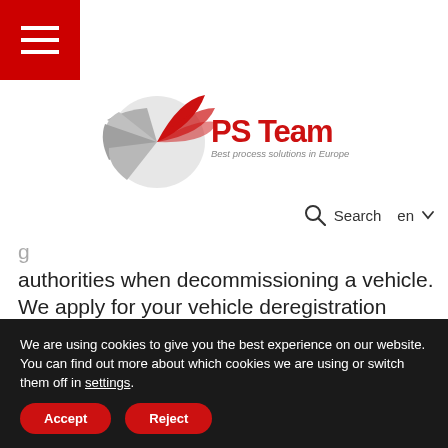[Figure (logo): PS Team logo — red swoosh/fan graphic with 'PS Team' in bold red text and 'Best process solutions in Europe' in grey italic below]
Search  en
g
authorities when decommissioning a vehicle. We apply for your vehicle deregistration centrally at a registration office of our choice. This results in tangible synergies and economies of scale, and allows us to pass on
We are using cookies to give you the best experience on our website.
You can find out more about which cookies we are using or switch them off in settings.
Accept
Reject